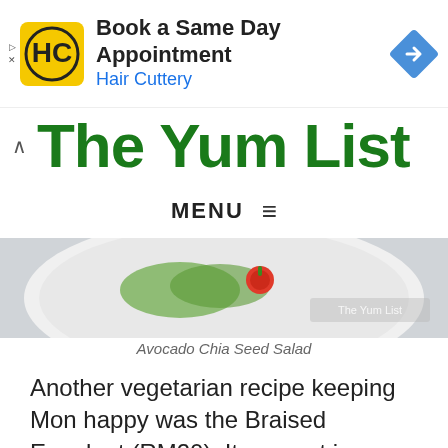[Figure (other): Hair Cuttery advertisement banner with logo and blue navigation arrow icon. Text: Book a Same Day Appointment, Hair Cuttery]
[Figure (other): Partial view of The Yum List website logo in large bold green text, with a back arrow chevron on the left]
MENU ≡
[Figure (photo): Partial photo of a white plate with a salad containing tomatoes and greens — Avocado Chia Seed Salad]
Avocado Chia Seed Salad
Another vegetarian recipe keeping Mon happy was the Braised Eggplant (RM20). It was set in a rich, robust red sauce with an immediate aroma of smoke coupled with spice. Three pieces of